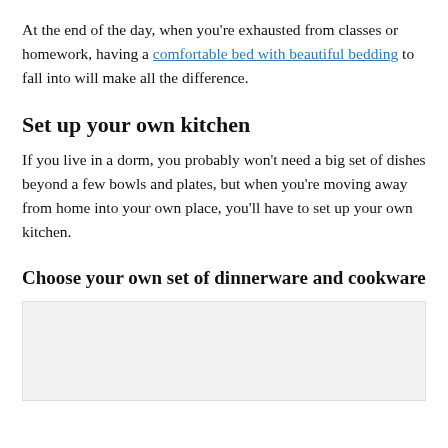At the end of the day, when you're exhausted from classes or homework, having a comfortable bed with beautiful bedding to fall into will make all the difference.
Set up your own kitchen
If you live in a dorm, you probably won't need a big set of dishes beyond a few bowls and plates, but when you're moving away from home into your own place, you'll have to set up your own kitchen.
Choose your own set of dinnerware and cookware
[Figure (photo): Image placeholder showing a light gray box representing a photo of dinnerware or cookware]